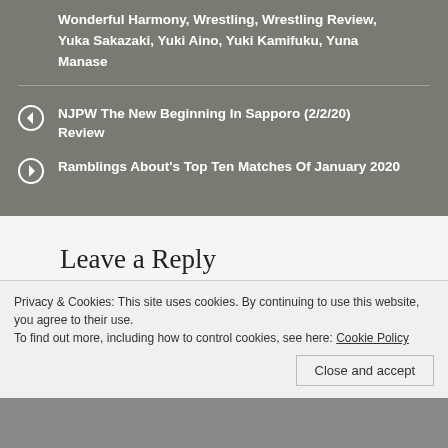Wonderful Harmony, Wrestling, Wrestling Review, Yuka Sakazaki, Yuki Aino, Yuki Kamifuku, Yuna Manase
NJPW The New Beginning In Sapporo (2/2/20) Review
Ramblings About's Top Ten Matches Of January 2020
Leave a Reply
Your email address will not be published. Required fields are marked
Privacy & Cookies: This site uses cookies. By continuing to use this website, you agree to their use.
To find out more, including how to control cookies, see here: Cookie Policy